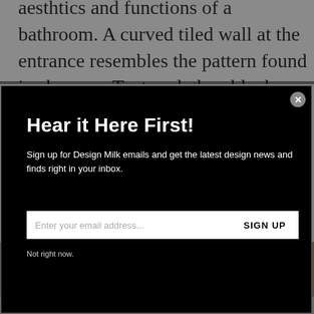aesthtics and functions of a bathroom. A curved tiled wall at the entrance resembles the pattern found in showers. Textured glass blocks that typically form windows or
[Figure (photo): Partial view of an interior photograph showing warm brown tones, partially obscured by modal overlay]
Hear it Here First!
Sign up for Design Milk emails and get the latest design news and finds right in your inbox.
Enter your email address...
SIGN UP
Not right now.